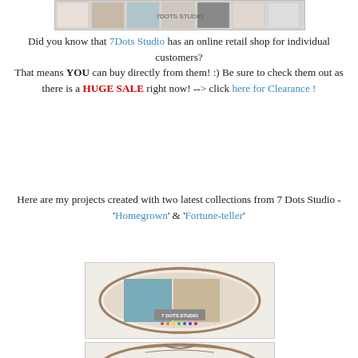[Figure (photo): Top banner image showing 7Dots Studio retail store collage]
Did you know that 7Dots Studio has an online retail shop for individual customers? That means YOU can buy directly from them! :) Be sure to check them out as there is a HUGE SALE right now! --> click here for Clearance !
Here are my projects created with two latest collections from 7 Dots Studio - 'Homegrown' & 'Fortune-teller'
[Figure (photo): Oval decorative frame with 7 Dots Studio Homegrown collection scrapbook items]
[Figure (photo): Oval decorative frame with 7 Dots Studio Fortune-teller collection scrapbook items (partially visible)]